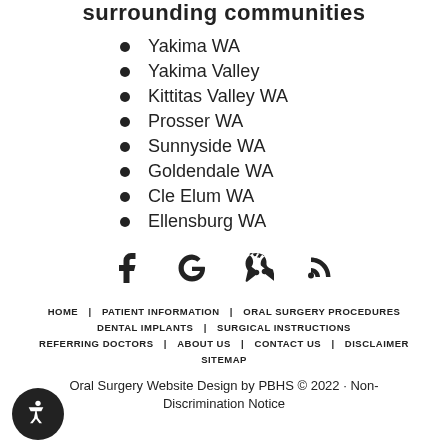surrounding communities
Yakima WA
Yakima Valley
Kittitas Valley WA
Prosser WA
Sunnyside WA
Goldendale WA
Cle Elum WA
Ellensburg WA
[Figure (other): Social media icons: Facebook, Google, Yelp, RSS feed]
HOME  PATIENT INFORMATION  ORAL SURGERY PROCEDURES  DENTAL IMPLANTS  SURGICAL INSTRUCTIONS  REFERRING DOCTORS  ABOUT US  CONTACT US  DISCLAIMER  SITEMAP
Oral Surgery Website Design by PBHS © 2022 · Non-Discrimination Notice